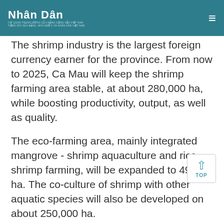Nhân Dân — Cơ quan Trung ương của Đảng Cộng sản Việt Nam, Tiếng nói của Đảng, Nhà nước, và Nhân dân Việt Nam
The shrimp industry is the largest foreign currency earner for the province. From now to 2025, Ca Mau will keep the shrimp farming area stable, at about 280,000 ha, while boosting productivity, output, as well as quality.
The eco-farming area, mainly integrated mangrove - shrimp aquaculture and rice - shrimp farming, will be expanded to 49,000 ha. The co-culture of shrimp with other aquatic species will also be developed on about 250,000 ha.
The province will boost shrimp export to potential markets, including the EU, Japan, the